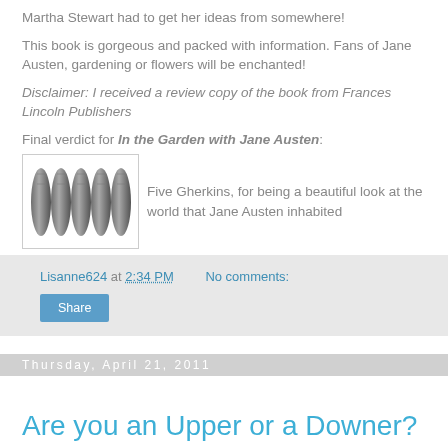Martha Stewart had to get her ideas from somewhere!
This book is gorgeous and packed with information.  Fans of Jane Austen, gardening or flowers will be enchanted!
Disclaimer:  I received a review copy of the book from Frances Lincoln Publishers
Final verdict for In the Garden with Jane Austen:
[Figure (illustration): Five gherkin vegetable icons in a bordered box representing a 5-gherkin rating]
Five Gherkins, for being a beautiful look at the world that Jane Austen inhabited
Lisanne624 at 2:34 PM    No comments:
Share
Thursday, April 21, 2011
Are you an Upper or a Downer?